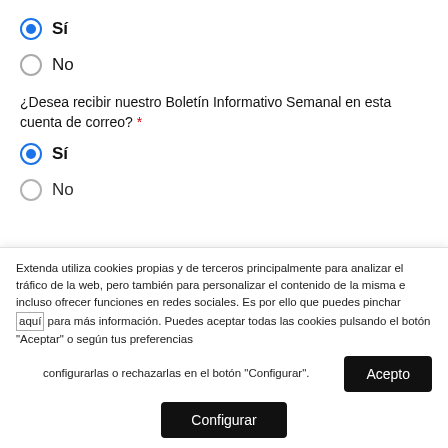Sí (selected radio button)
No (radio button)
¿Desea recibir nuestro Boletín Informativo Semanal en esta cuenta de correo? *
Sí (selected radio button)
No (radio button, partially visible)
Extenda utiliza cookies propias y de terceros principalmente para analizar el tráfico de la web, pero también para personalizar el contenido de la misma e incluso ofrecer funciones en redes sociales. Es por ello que puedes pinchar aquí para más información. Puedes aceptar todas las cookies pulsando el botón "Aceptar" o según tus preferencias configurarlas o rechazarlas en el botón "Configurar".
Acepto
Configurar